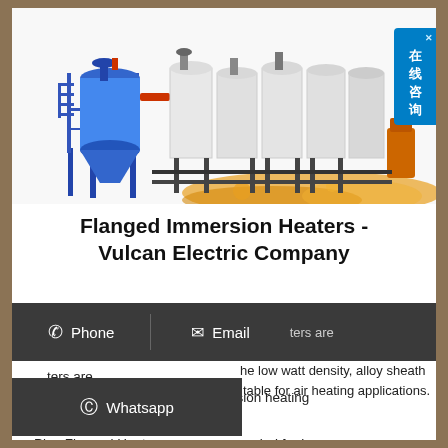[Figure (photo): Industrial flanged immersion heater equipment — large blue cylindrical vessel with frame/scaffolding on left, connected to a row of white industrial processing units (tanks/vessels) extending to the right, with orange liquid/oil splashed in foreground. Chinese online-chat badge in upper right corner.]
Flanged Immersion Heaters - Vulcan Electric Company
Phone  Email  ...ters are primarily intended for liquid immersion heating ...he low watt density, alloy sheath ...itable for air heating applications. Pipe Flanged Heaters are recommended for larger
Whatsapp